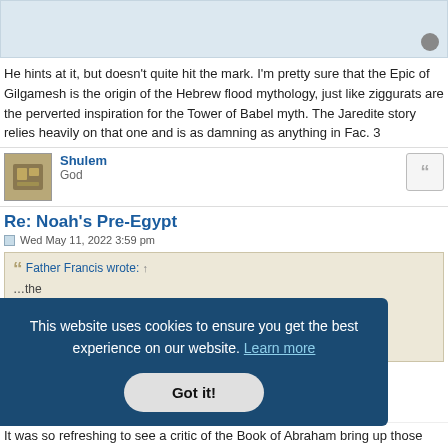He hints at it, but doesn't quite hit the mark. I'm pretty sure that the Epic of Gilgamesh is the origin of the Hebrew flood mythology, just like ziggurats are the perverted inspiration for the Tower of Babel myth. The Jaredite story relies heavily on that one and is as damning as anything in Fac. 3
Shulem
God
Re: Noah's Pre-Egypt
Wed May 11, 2022 3:59 pm
Father Francis wrote: ↑
This website uses cookies to ensure you get the best experience on our website. Learn more
Got it!
It was so refreshing to see a critic of the Book of Abraham bring up those